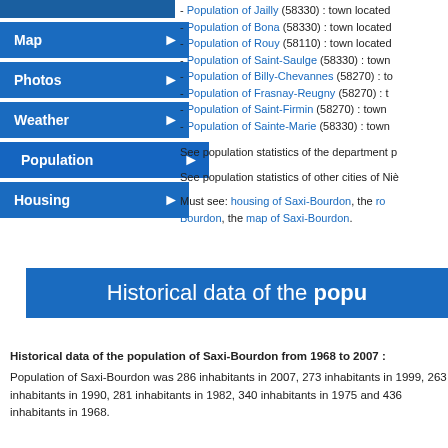- Population of Jailly (58330) : town located
- Population of Bona (58330) : town located
- Population of Rouy (58110) : town located
- Population of Saint-Saulge (58330) : town
- Population of Billy-Chevannes (58270) : to
- Population of Frasnay-Reugny (58270) : t
- Population of Saint-Firmin (58270) : town
- Population of Sainte-Marie (58330) : town
See population statistics of the department p
See population statistics of other cities of Niè
Must see: housing of Saxi-Bourdon, the ro Bourdon, the map of Saxi-Bourdon.
Historical data of the popu
Historical data of the population of Saxi-Bourdon from 1968 to 2007 :
Population of Saxi-Bourdon was 286 inhabitants in 2007, 273 inhabitants in 1999, 263 inhabitants in 1990, 281 inhabitants in 1982, 340 inhabitants in 1975 and 436 inhabitants in 1968.